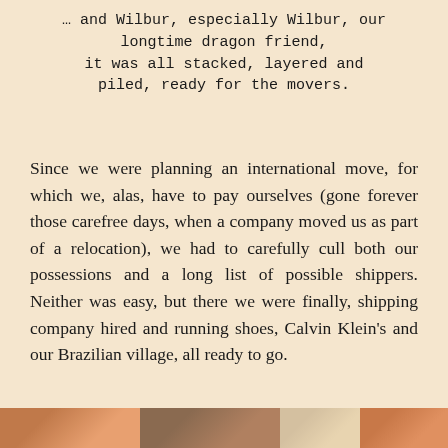… and Wilbur, especially Wilbur, our longtime dragon friend,
it was all stacked, layered and piled, ready for the movers.
Since we were planning an international move, for which we, alas, have to pay ourselves (gone forever those carefree days, when a company moved us as part of a relocation), we had to carefully cull both our possessions and a long list of possible shippers. Neither was easy, but there we were finally, shipping company hired and running shoes, Calvin Klein's and our Brazilian village, all ready to go.
[Figure (photo): A strip of four photos at the bottom of the page showing partial images, likely people and scenes.]